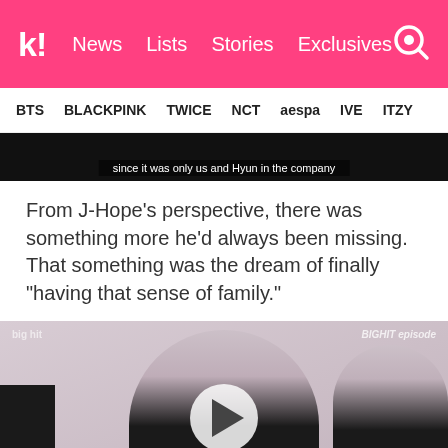koreaboo | News  Lists  Stories  Exclusives
BTS  BLACKPINK  TWICE  NCT  aespa  IVE  ITZY
[Figure (screenshot): Video still with subtitle: since it was only us and Hyun in the company]
From J-Hope's perspective, there was something more he'd always been missing. That something was the dream of finally “having that sense of family.”
[Figure (screenshot): Video thumbnail from BIGHIT episode showing BTS members in dark suits with a play button overlay]